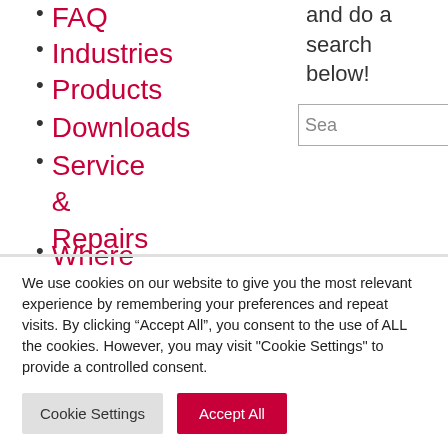FAQ
Industries
Products
Downloads
Service & Repairs
Where
and do a search below!
We use cookies on our website to give you the most relevant experience by remembering your preferences and repeat visits. By clicking “Accept All”, you consent to the use of ALL the cookies. However, you may visit "Cookie Settings" to provide a controlled consent.